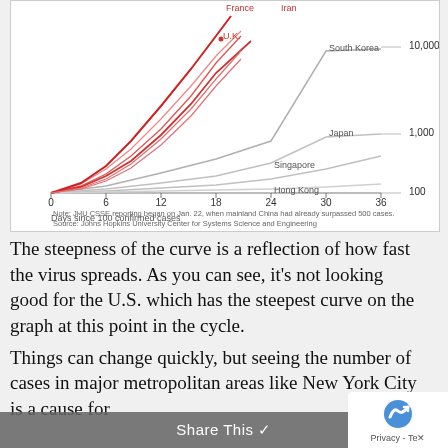[Figure (continuous-plot): Line chart showing COVID-19 confirmed cases on a logarithmic y-axis (100 to 10,000+) versus days since 100 confirmed cases (x-axis 0 to 36). Multiple country trajectories shown: red lines for fast-growing countries (U.K., France, Iran and others including U.S. with steepest curve), gray lines for slower-growing countries (South Korea at ~10,000, Japan at ~1,000, Singapore, Hong Kong at ~100). Note: JHU CSSE reporting began on Jan. 22, when mainland China had already surpassed 500 cases. Source: Johns Hopkins University Center for Systems Science and Engineering.]
The steepness of the curve is a reflection of how fast the virus spreads. As you can see, it's not looking good for the U.S. which has the steepest curve on the graph at this point in the cycle.
Things can change quickly, but seeing the number of cases in major metropolitan areas like New York City is a cause for